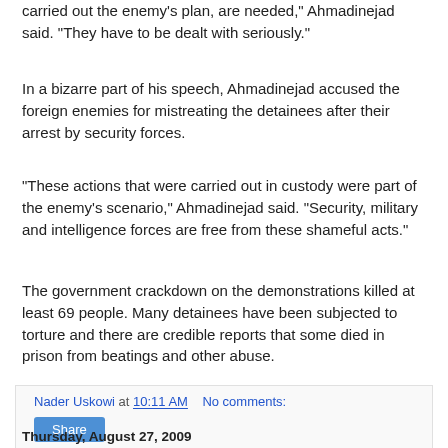carried out the enemy's plan, are needed," Ahmadinejad said. "They have to be dealt with seriously."
In a bizarre part of his speech, Ahmadinejad accused the foreign enemies for mistreating the detainees after their arrest by security forces.
"These actions that were carried out in custody were part of the enemy's scenario," Ahmadinejad said. "Security, military and intelligence forces are free from these shameful acts."
The government crackdown on the demonstrations killed at least 69 people. Many detainees have been subjected to torture and there are credible reports that some died in prison from beatings and other abuse.
Nader Uskowi at 10:11 AM   No comments:  Share
Thursday, August 27, 2009